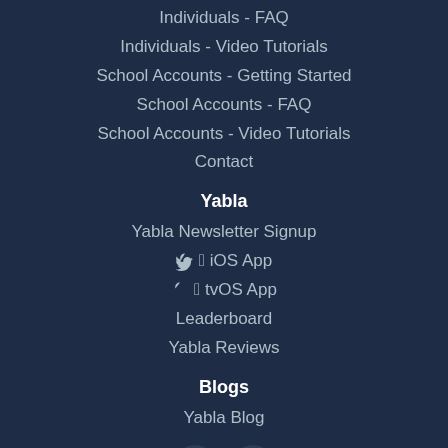Individuals - FAQ
Individuals - Video Tutorials
School Accounts - Getting Started
School Accounts - FAQ
School Accounts - Video Tutorials
Contact
Yabla
Yabla Newsletter Signup
🍎 iOS App
🍎 tvOS App
Leaderboard
Yabla Reviews
Blogs
Yabla Blog
[Figure (illustration): Social media icons: Twitter bird icon and Facebook 'f' icon in dark circular buttons]